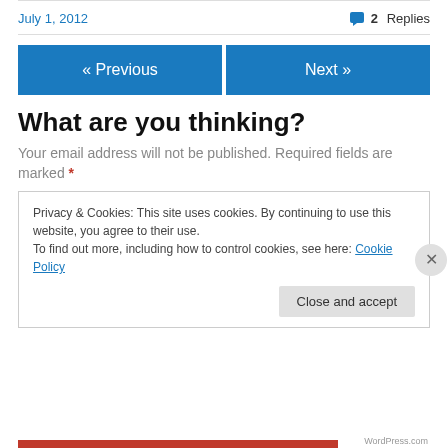July 1, 2012
2 Replies
« Previous
Next »
What are you thinking?
Your email address will not be published. Required fields are marked *
Privacy & Cookies: This site uses cookies. By continuing to use this website, you agree to their use. To find out more, including how to control cookies, see here: Cookie Policy
Close and accept